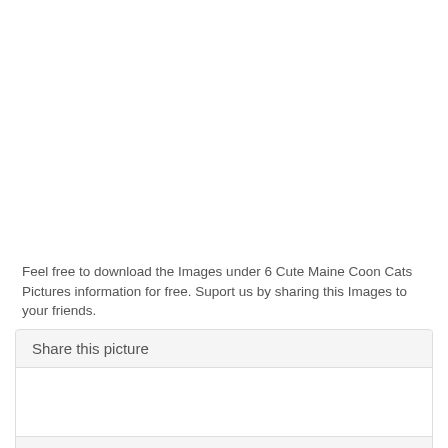[Figure (photo): Large blank/white image area at top of page]
Feel free to download the Images under 6 Cute Maine Coon Cats Pictures information for free. Suport us by sharing this Images to your friends.
Share this picture
Size Available to Download